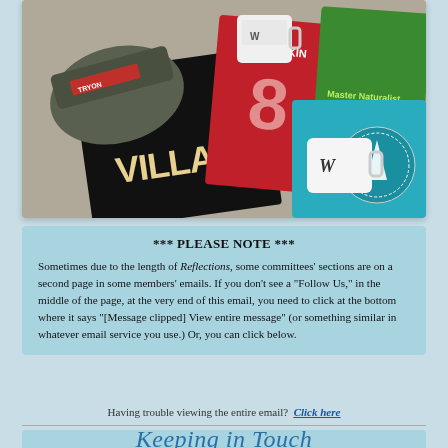[Figure (photo): Photo of various branded merchandise including hats, mugs, t-shirts with Villanova, Ovechkin #8, Master Naturalist, and other logos on a table]
*** PLEASE NOTE ***
Sometimes due to the length of Reflections, some committees' sections are on a second page in some members' emails. If you don't see a "Follow Us," in the middle of the page, at the very end of this email, you need to click at the bottom where it says "[Message clipped] View entire message" (or something similar in whatever email service you use.) Or, you can click below.
Having trouble viewing the entire email?  Click here
Keeping in Touch